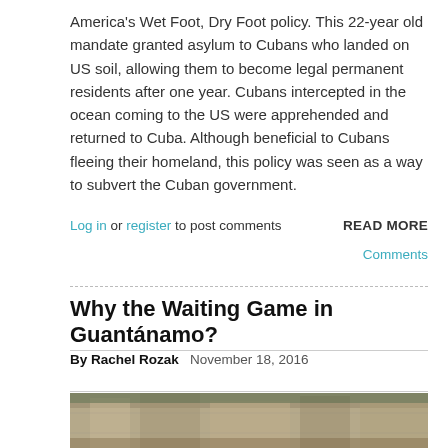America's Wet Foot, Dry Foot policy. This 22-year old mandate granted asylum to Cubans who landed on US soil, allowing them to become legal permanent residents after one year. Cubans intercepted in the ocean coming to the US were apprehended and returned to Cuba. Although beneficial to Cubans fleeing their homeland, this policy was seen as a way to subvert the Cuban government.
Log in or register to post comments
READ MORE
Comments
Why the Waiting Game in Guantánamo?
By Rachel Rozak   November 18, 2016
[Figure (photo): Outdoor photo showing a large open structure or facility, possibly a detention or military facility, with hills and vegetation in the background.]